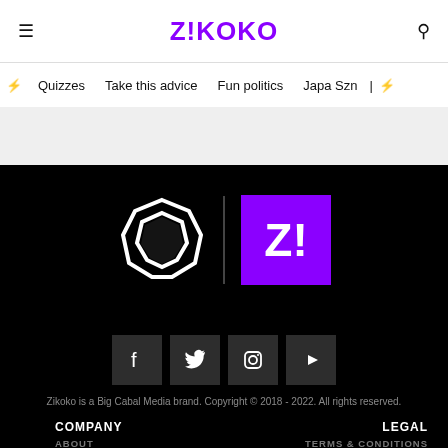ZIKOKO
Quizzes
Take this advice
Fun politics
Japa Szn
[Figure (logo): Zikoko pentagon outline logo and Z! purple square logo side by side with vertical separator]
[Figure (infographic): Social media icons: Facebook, Twitter, Instagram, YouTube in dark square buttons]
Zikoko is a Big Cabal Media brand. Copyright © 2018 - 2022. All rights reserved.
COMPANY
ABOUT
LEGAL
TERMS & CONDITIONS
X